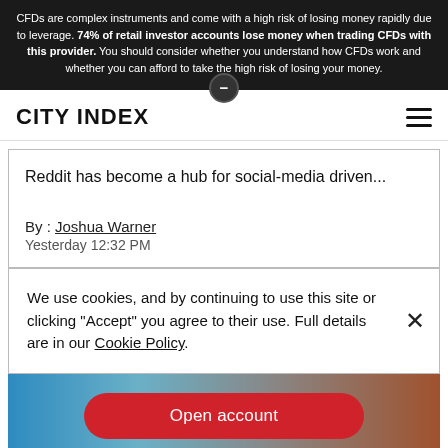CFDs are complex instruments and come with a high risk of losing money rapidly due to leverage. 74% of retail investor accounts lose money when trading CFDs with this provider. You should consider whether you understand how CFDs work and whether you can afford to take the high risk of losing your money.
CITY INDEX
Reddit has become a hub for social-media driven...
By : Joshua Warner
Yesterday 12:32 PM
We use cookies, and by continuing to use this site or clicking "Accept" you agree to their use. Full details are in our Cookie Policy.
[Figure (photo): Decorative background image with an Open account button overlay]
Open account